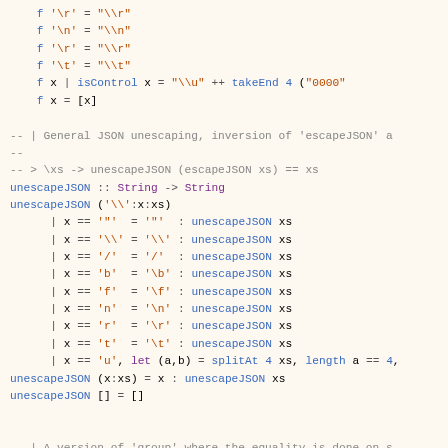Haskell source code showing escapeJSON and unescapeJSON functions, and groupOn utility function
[Figure (screenshot): Haskell code snippet showing pattern matching for escape sequences in JSON strings, unescapeJSON function definition, and groupOn function definition]